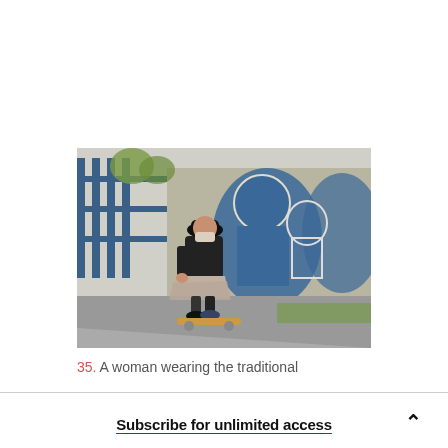[Figure (photo): A woman wearing traditional Bolivian indigenous attire including a black bowler hat, black shawl, and layered skirt, skateboarding on a concrete ramp at a skate park. Behind her is a large mural painted on a wall in blue tones, and a metal fence with trees visible in the background.]
35. A woman wearing the traditional
Subscribe for unlimited access